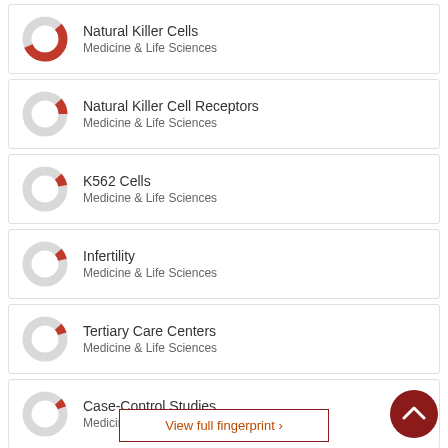Natural Killer Cells — Medicine & Life Sciences
Natural Killer Cell Receptors — Medicine & Life Sciences
K562 Cells — Medicine & Life Sciences
Infertility — Medicine & Life Sciences
Tertiary Care Centers — Medicine & Life Sciences
Case-Control Studies — Medicine & Life Sciences
View full fingerprint ›